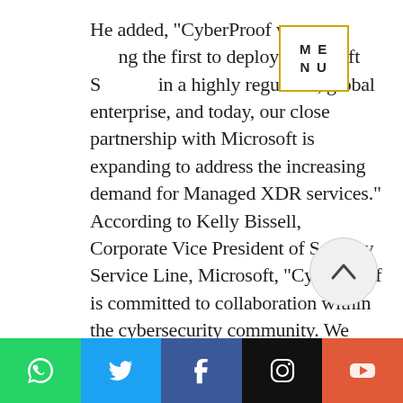He added, "CyberProof was among the first to deploy Microsoft Sentinel in a highly regulated, global enterprise, and today, our close partnership with Microsoft is expanding to address the increasing demand for Managed XDR services." According to Kelly Bissell, Corporate Vice President of Security Service Line, Microsoft, "CyberProof is committed to collaboration within the cybersecurity community. We value CyberProof's capabilities in cyber defense and appreciate the team working with us to improve the ability of our customers to predict, detect and respond to security threats faster.
[Figure (other): Social media share bar with WhatsApp, Twitter, Facebook, Instagram, and YouTube icons]